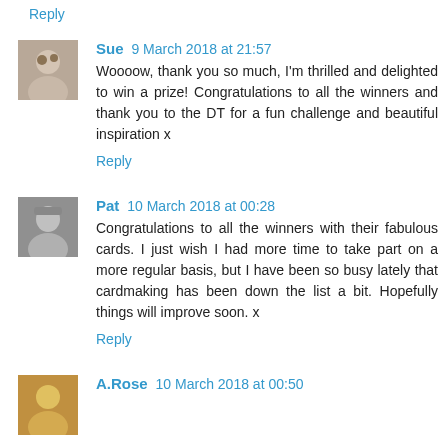Reply
Sue 9 March 2018 at 21:57
Woooow, thank you so much, I'm thrilled and delighted to win a prize! Congratulations to all the winners and thank you to the DT for a fun challenge and beautiful inspiration x
Reply
Pat 10 March 2018 at 00:28
Congratulations to all the winners with their fabulous cards. I just wish I had more time to take part on a more regular basis, but I have been so busy lately that cardmaking has been down the list a bit. Hopefully things will improve soon. x
Reply
A.Rose 10 March 2018 at 00:50